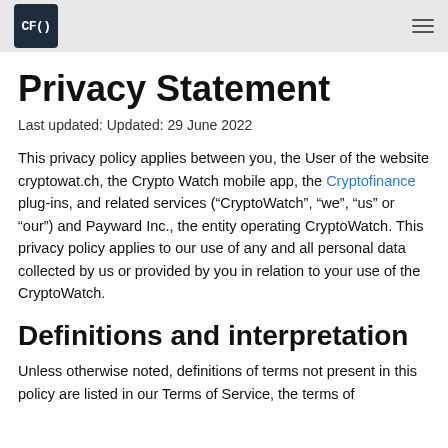CF()
Privacy Statement
Last updated: Updated: 29 June 2022
This privacy policy applies between you, the User of the website cryptowat.ch, the Crypto Watch mobile app, the Cryptofinance plug-ins, and related services (“CryptoWatch”, “we”, “us” or “our”) and Payward Inc., the entity operating CryptoWatch. This privacy policy applies to our use of any and all personal data collected by us or provided by you in relation to your use of the CryptoWatch.
Definitions and interpretation
Unless otherwise noted, definitions of terms not present in this policy are listed in our Terms of Service, the terms of